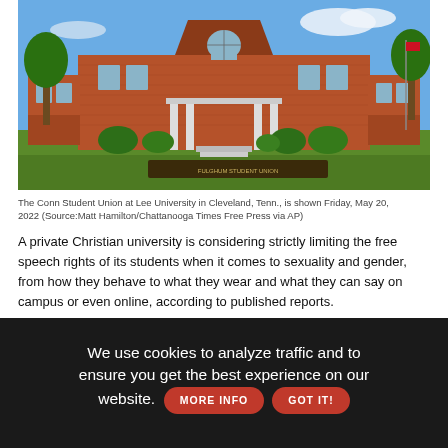[Figure (photo): The Conn Student Union at Lee University in Cleveland, Tennessee — a large red brick building with arched windows, columned portico, trees and lawn in front, blue sky overhead.]
The Conn Student Union at Lee University in Cleveland, Tenn., is shown Friday, May 20, 2022 (Source:Matt Hamilton/Chattanooga Times Free Press via AP)
A private Christian university is considering strictly limiting the free speech rights of its students when it comes to sexuality and gender, from how they behave to what they wear and what they can say on campus or even online, according to published reports.
If approved, the policy presented to faculty and staff at Lee University in Cleveland, Tennessee, this month would not allow students to identify as anything other than their biological sex. They
We use cookies to analyze traffic and to ensure you get the best experience on our website.